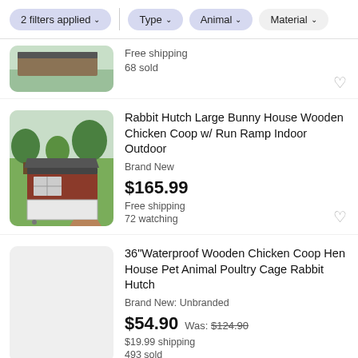2 filters applied | Type | Animal | Material
Free shipping
68 sold
[Figure (screenshot): Thumbnail image of a wooden rabbit hutch/chicken coop with dark roof and wire mesh enclosure on grass background]
Rabbit Hutch Large Bunny House Wooden Chicken Coop w/ Run Ramp Indoor Outdoor
Brand New
$165.99
Free shipping
72 watching
[Figure (photo): Gray placeholder thumbnail for a chicken coop product listing]
36"Waterproof Wooden Chicken Coop Hen House Pet Animal Poultry Cage Rabbit Hutch
Brand New: Unbranded
$54.90  Was: $124.90
$19.99 shipping
493 sold